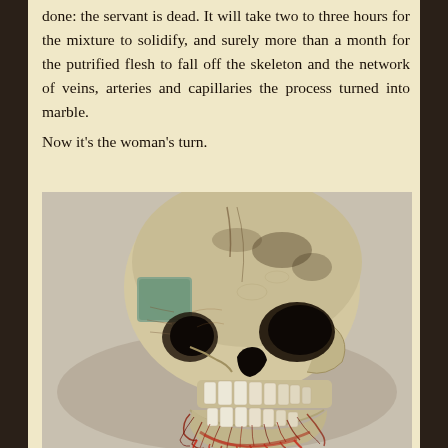done: the servant is dead. It will take two to three hours for the mixture to solidify, and surely more than a month for the putrified flesh to fall off the skeleton and the network of veins, arteries and capillaries the process turned into marble.
Now it's the woman's turn.
[Figure (photo): A detailed anatomical or artistic sculpture/model of a human skull with exposed teeth, visible veins and decayed flesh details, photographed against a pale background. The skull appears aged with dark staining and has reddish organic fiber details around the jaw and lower portion.]